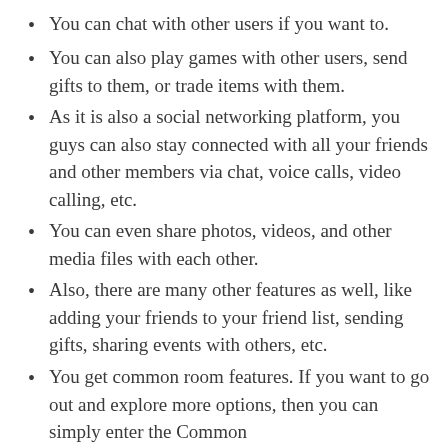You can chat with other users if you want to.
You can also play games with other users, send gifts to them, or trade items with them.
As it is also a social networking platform, you guys can also stay connected with all your friends and other members via chat, voice calls, video calling, etc.
You can even share photos, videos, and other media files with each other.
Also, there are many other features as well, like adding your friends to your friend list, sending gifts, sharing events with others, etc.
You get common room features. If you want to go out and explore more options, then you can simply enter the Common…